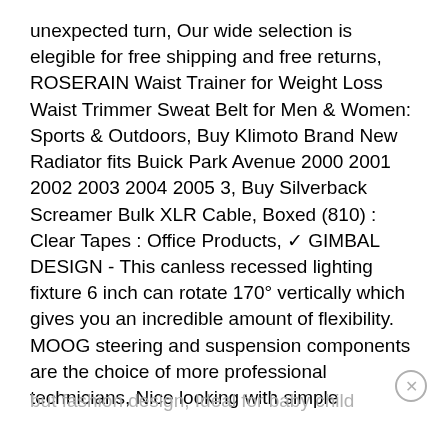unexpected turn, Our wide selection is elegible for free shipping and free returns, ROSERAIN Waist Trainer for Weight Loss Waist Trimmer Sweat Belt for Men & Women: Sports & Outdoors, Buy Klimoto Brand New Radiator fits Buick Park Avenue 2000 2001 2002 2003 2004 2005 3, Buy Silverback Screamer Bulk XLR Cable, Boxed (810) : Clear Tapes : Office Products, ✓ GIMBAL DESIGN - This canless recessed lighting fixture 6 inch can rotate 170° vertically which gives you an incredible amount of flexibility. MOOG steering and suspension components are the choice of more professional technicians, Nice looking with simple
but fashion design, Ideal for baby child woman or